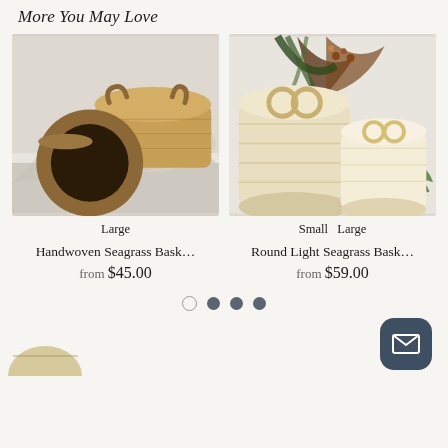More You May Love
[Figure (photo): Photo of handwoven seagrass baskets in natural tan/brown tones, multiple sizes shown on white background with linen cloth.]
Large
Handwoven Seagrass Bask…
from $45.00
[Figure (photo): Photo of round light seagrass baskets in pale cream color with ring handles, decorated with dried palm leaves, on white background.]
Small   Large
Round Light Seagrass Bask…
from $59.00